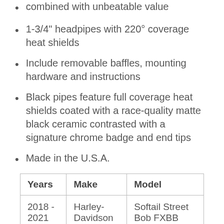combined with unbeatable value
1-3/4" headpipes with 220° coverage heat shields
Include removable baffles, mounting hardware and instructions
Black pipes feature full coverage heat shields coated with a race-quality matte black ceramic contrasted with a signature chrome badge and end tips
Made in the U.S.A.
| Years | Make | Model |
| --- | --- | --- |
| 2018 - 2021 | Harley-Davidson | Softail Street Bob FXBB |
| 2018 - | Harley- | Softail |